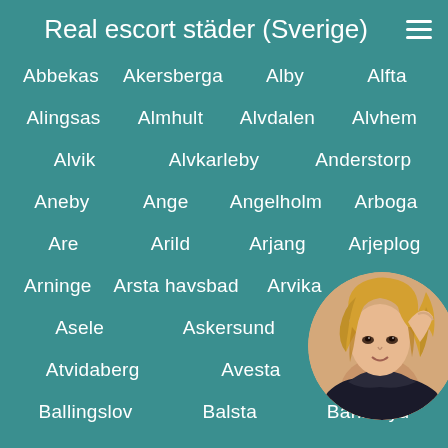Real escort städer (Sverige)
Abbekas   Akersberga   Alby   Alfta
Alingsas   Almhult   Alvdalen   Alvhem
Alvik   Alvkarleby   Anderstorp
Aneby   Ange   Angelholm   Arboga
Are   Arild   Arjang   Arjeplog
Arninge   Arsta havsbad   Arvika   Asa
Asele   Askersund   Asto
Atvidaberg   Avesta   B
Ballingslov   Balsta   Bankeryd
[Figure (photo): Circular portrait photo of a woman with blonde wavy hair, partially visible in lower right corner]